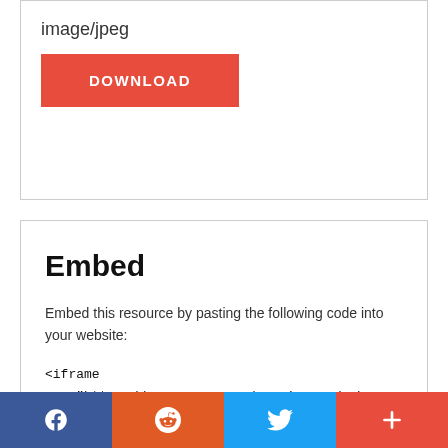image/jpeg
DOWNLOAD
Embed
Embed this resource by pasting the following code into your website:
<iframe src="https://mars.nasa.gov/raw_images/embed/393440" width="400" height="400" scrolling="no" frameborder="0"></iframe>